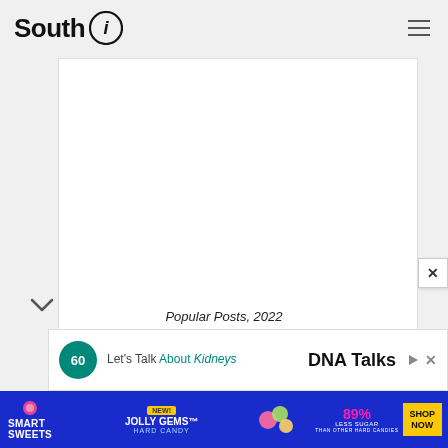South i
[Figure (illustration): Large white blank/empty content card area]
Popular Posts, 2022
[Figure (other): DNA Talks advertisement banner with kidney health messaging and teal circular icon]
[Figure (other): Smart Sweets Jolly Gems candy advertisement with blue background, 89% Less Sugar text, and Shop Now button]